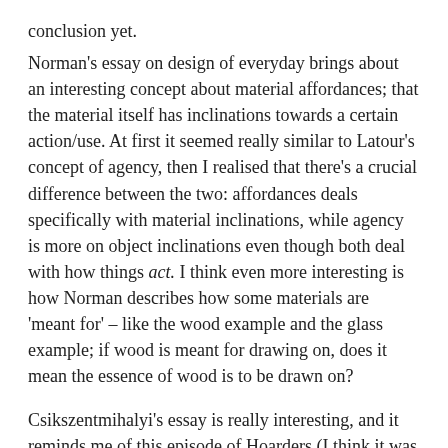conclusion yet.
Norman's essay on design of everyday brings about an interesting concept about material affordances; that the material itself has inclinations towards a certain action/use. At first it seemed really similar to Latour's concept of agency, then I realised that there's a crucial difference between the two: affordances deals specifically with material inclinations, while agency is more on object inclinations even though both deal with how things act. I think even more interesting is how Norman describes how some materials are 'meant for' – like the wood example and the glass example; if wood is meant for drawing on, does it mean the essence of wood is to be drawn on?
Csikszentmihalyi's essay is really interesting, and it reminds me of this episode of Hoarders (I think it was the first ep?) when one of psychologists makes a comment about how 'people need things to navigate' and while Hoarders is an